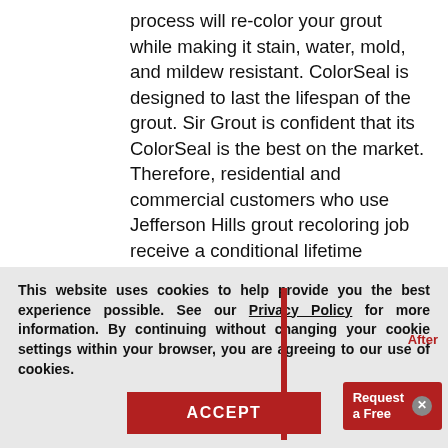process will re-color your grout while making it stain, water, mold, and mildew resistant. ColorSeal is designed to last the lifespan of the grout. Sir Grout is confident that its ColorSeal is the best on the market. Therefore, residential and commercial customers who use Jefferson Hills grout recoloring job receive a conditional lifetime warranty.
[Figure (photo): Before/after comparison photo of tile floor with grout recoloring. Left side shows older tile appearance, right side shows cleaner tile. A red vertical divider separates the two. 'After' label in red appears on the right. A red 'Request a Free' popup box with close button appears at bottom right of the image.]
This website uses cookies to help provide you the best experience possible. See our Privacy Policy for more information. By continuing without changing your cookie settings within your browser, you are agreeing to our use of cookies.